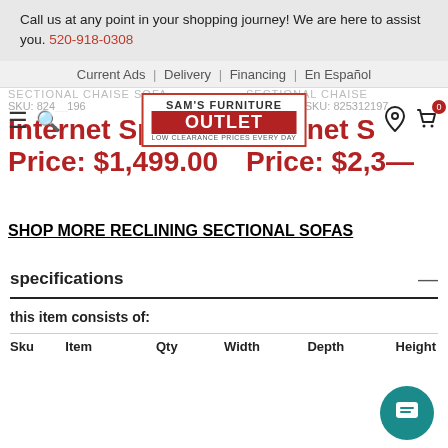Call us at any point in your shopping journey! We are here to assist you. 520-918-0308
Current Ads | Delivery | Financing | En Español
[Figure (logo): Sam's Furniture Outlet logo — red bordered box, brand name, OUTLET in red background, tagline: LOW CLEARANCE PRICES EVERY DAY]
SECTIONAL CHAISE SOFA SKU: 824__196   Internet Special Price: $1,499.00
SECTIONAL CHAISE AND R__ SKU: 825312197   Internet S__ Price: $2,3__
SHOP MORE RECLINING SECTIONAL SOFAS
specifications
this item consists of:
| Sku | Item | Qty | Width | Depth | Height |
| --- | --- | --- | --- | --- | --- |